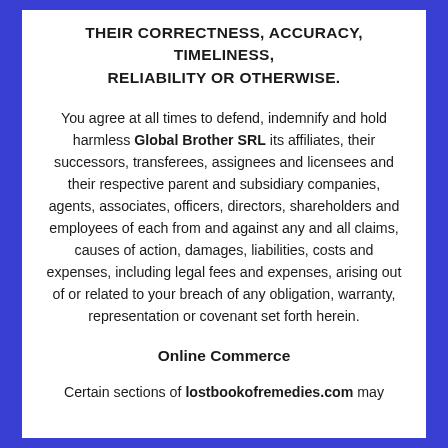THEIR CORRECTNESS, ACCURACY, TIMELINESS, RELIABILITY OR OTHERWISE.
You agree at all times to defend, indemnify and hold harmless Global Brother SRL its affiliates, their successors, transferees, assignees and licensees and their respective parent and subsidiary companies, agents, associates, officers, directors, shareholders and employees of each from and against any and all claims, causes of action, damages, liabilities, costs and expenses, including legal fees and expenses, arising out of or related to your breach of any obligation, warranty, representation or covenant set forth herein.
Online Commerce
Certain sections of lostbookofremedies.com may